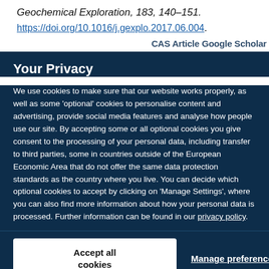Geochemical Exploration, 183, 140–151.
https://doi.org/10.1016/j.gexplo.2017.06.004.
Your Privacy
We use cookies to make sure that our website works properly, as well as some 'optional' cookies to personalise content and advertising, provide social media features and analyse how people use our site. By accepting some or all optional cookies you give consent to the processing of your personal data, including transfer to third parties, some in countries outside of the European Economic Area that do not offer the same data protection standards as the country where you live. You can decide which optional cookies to accept by clicking on 'Manage Settings', where you can also find more information about how your personal data is processed. Further information can be found in our privacy policy.
Accept all cookies
Manage preferences